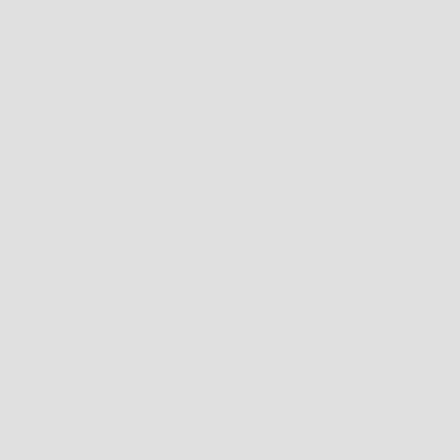not wa for the cer of the day and mis out sev day of pro
Val Stu
♡ ^^ ♡
For You
Sh
▶